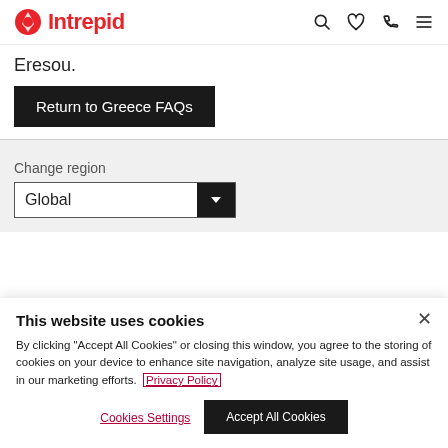Intrepid
Eresou.
Return to Greece FAQs
Change region
Global
This website uses cookies
By clicking "Accept All Cookies" or closing this window, you agree to the storing of cookies on your device to enhance site navigation, analyze site usage, and assist in our marketing efforts. Privacy Policy
Cookies Settings
Accept All Cookies